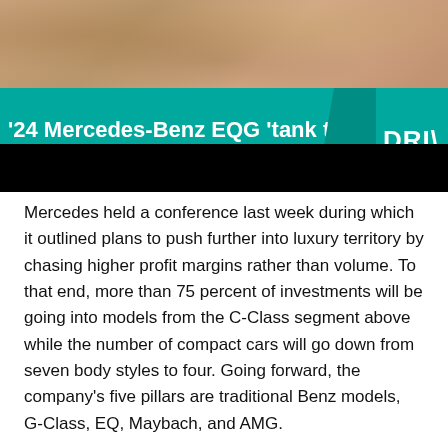[Figure (screenshot): Screenshot of a Drive.com article banner featuring a teal/green background with the headline '24 Mercedes-Benz EQG tank turn' and subtitle 'sive video showing wild capability of electric G', with the Drive logo partially visible on the right, sandy/rocky terrain at the top, and a black bar below the teal banner.]
Mercedes held a conference last week during which it outlined plans to push further into luxury territory by chasing higher profit margins rather than volume. To that end, more than 75 percent of investments will be going into models from the C-Class segment above while the number of compact cars will go down from seven body styles to four. Going forward, the company's five pillars are traditional Benz models, G-Class, EQ, Maybach, and AMG.
We've already discussed the entry-level electric compact car, EQF